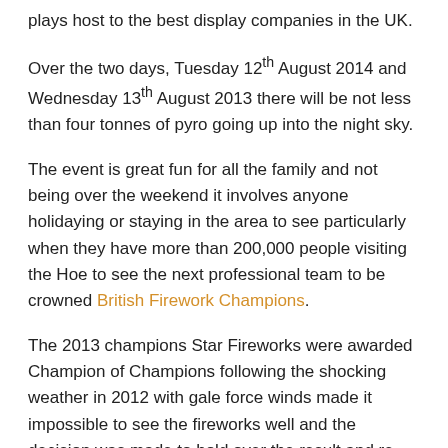plays host to the best display companies in the UK.
Over the two days, Tuesday 12th August 2014 and Wednesday 13th August 2013 there will be not less than four tonnes of pyro going up into the night sky.
The event is great fun for all the family and not being over the weekend it involves anyone holidaying or staying in the area to see particularly when they have more than 200,000 people visiting the Hoe to see the next professional team to be crowned British Firework Champions.
The 2013 champions Star Fireworks were awarded Champion of Champions following the shocking weather in 2012 with gale force winds made it impossible to see the fireworks well and the decision was made to hold over the result and re-compete.
We will bring you the running order as soon as it is confirmed as I am sure this is going to be battle royal this time around.